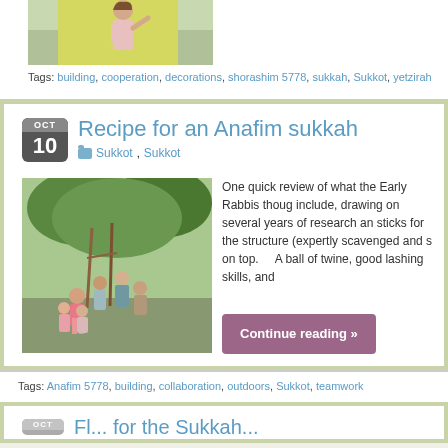[Figure (photo): A child painting or working on a yellow wall/surface, viewed from behind]
Tags: building, cooperation, decorations, shorashim 5778, sukkah, Sukkot, yetzirah
Recipe for an Anafim sukkah
Sukkot, Sukkot
[Figure (photo): Children working outdoors, building or decorating with branches and sticks in a garden/yard setting]
One quick review of what the Early Rabbis thought a sukkah should include, drawing on several years of research and practice... sticks for the structure (expertly scavenged and s... on top.     A ball of twine, good lashing skills, and...
Continue reading »
Tags: Anafim 5778, building, collaboration, outdoors, Sukkot, teamwork
[Figure (photo): Partial view of another blog post with a date icon showing OCT and a title beginning with 'Fl...' for the Sukkah]
Fl... for the Sukkah...